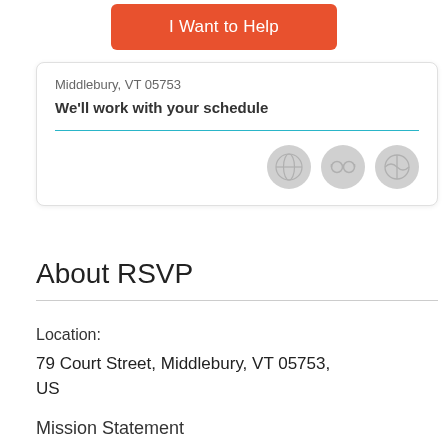I Want to Help
Middlebury, VT 05753
We'll work with your schedule
[Figure (illustration): Three circular gray icon buttons in a row]
About RSVP
Location:
79 Court Street, Middlebury, VT 05753, US
Mission Statement